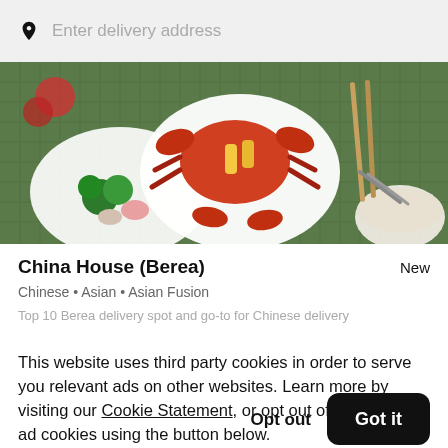Enter delivery address
[Figure (photo): Food photo showing Chinese dishes including crab, vegetables, and chopsticks on a green tiled background]
China House (Berea)
Chinese • Asian • Asian Fusion
Top 10 Berea delivery spot and go-to for Chinese delivery
This website uses third party cookies in order to serve you relevant ads on other websites. Learn more by visiting our Cookie Statement, or opt out of third party ad cookies using the button below.
Opt out
Got it